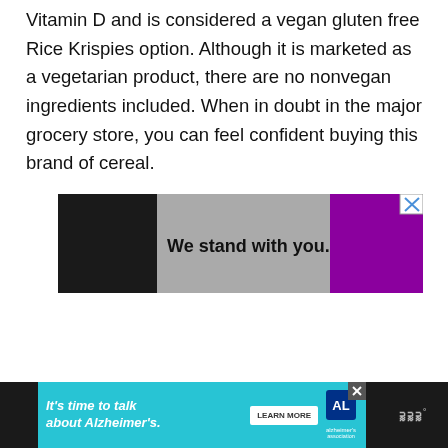Vitamin D and is considered a vegan gluten free Rice Krispies option. Although it is marketed as a vegetarian product, there are no nonvegan ingredients included. When in doubt in the major grocery store, you can feel confident buying this brand of cereal.
[Figure (other): Advertisement banner: black square on left, gray background with bold text 'We stand with you.' in center, purple rectangle on right with close (X) button]
It's time to talk about Alzheimer's. LEARN MORE | Alzheimer's Association logo | mmm logo